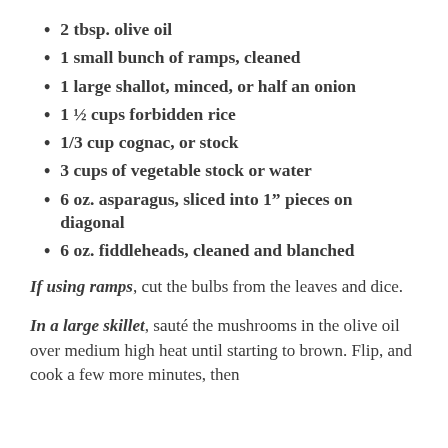2 tbsp. olive oil
1 small bunch of ramps, cleaned
1 large shallot, minced, or half an onion
1 ½ cups forbidden rice
1/3 cup cognac, or stock
3 cups of vegetable stock or water
6 oz. asparagus, sliced into 1" pieces on diagonal
6 oz. fiddleheads, cleaned and blanched
If using ramps, cut the bulbs from the leaves and dice.
In a large skillet, sauté the mushrooms in the olive oil over medium high heat until starting to brown. Flip, and cook a few more minutes, then